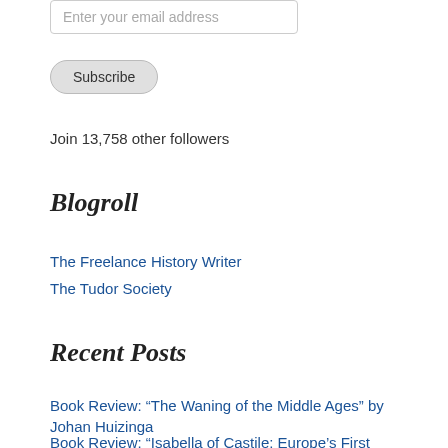Enter your email address
Subscribe
Join 13,758 other followers
Blogroll
The Freelance History Writer
The Tudor Society
Recent Posts
Book Review: “The Waning of the Middle Ages” by Johan Huizinga
Book Review: “Isabella of Castile: Europe’s First Great